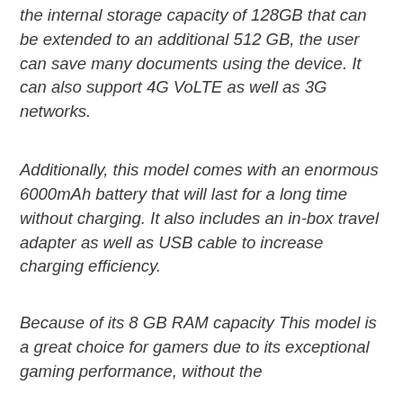the internal storage capacity of 128GB that can be extended to an additional 512 GB, the user can save many documents using the device. It can also support 4G VoLTE as well as 3G networks.
Additionally, this model comes with an enormous 6000mAh battery that will last for a long time without charging. It also includes an in-box travel adapter as well as USB cable to increase charging efficiency.
Because of its 8 GB RAM capacity This model is a great choice for gamers due to its exceptional gaming performance, without the